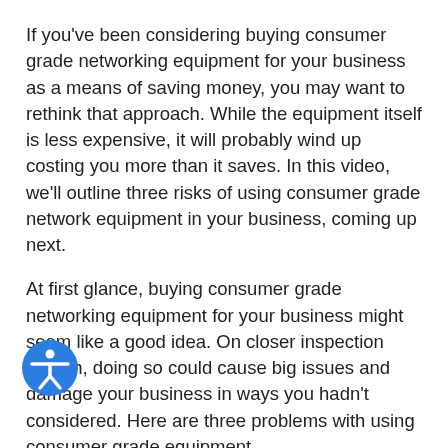If you've been considering buying consumer grade networking equipment for your business as a means of saving money, you may want to rethink that approach. While the equipment itself is less expensive, it will probably wind up costing you more than it saves. In this video, we'll outline three risks of using consumer grade network equipment in your business, coming up next.
At first glance, buying consumer grade networking equipment for your business might seem like a good idea. On closer inspection though, doing so could cause big issues and damage your business in ways you hadn't considered. Here are three problems with using consumer grade equipment.
Number 1: Shorter life span – Consumer-grade networking equipment wasn't built to last. At best, you can expect to be able to use your consumer-grade router for a couple of years before you'll have to replace it. Contrast that with
[Figure (illustration): Blue circular accessibility icon with a white figure in the center, positioned at bottom-left of the page overlay]